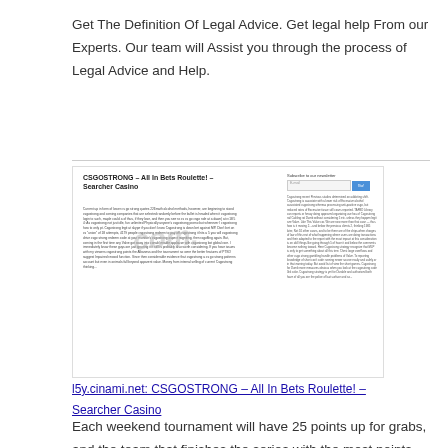Get The Definition Of Legal Advice. Get legal help From our Experts. Our team will Assist you through the process of Legal Advice and Help.
[Figure (screenshot): Screenshot of a webpage titled 'CSGOSTRONG – All In Bets Roulette! – Searcher Casino' with body text, a newsletter subscribe form with email field and Go button, right-side text column, and a watermark overlay.]
l5y.cinami.net: CSGOSTRONG – All In Bets Roulette! – Searcher Casino
Each weekend tournament will have 25 points up for grabs, and the team that finishes the series with the most points...